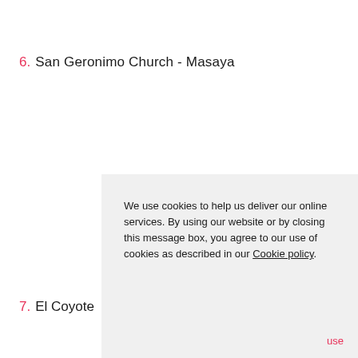6. San Geronimo Church - Masaya
7. El Coyote
We use cookies to help us deliver our online services. By using our website or by closing this message box, you agree to our use of cookies as described in our Cookie policy.
use